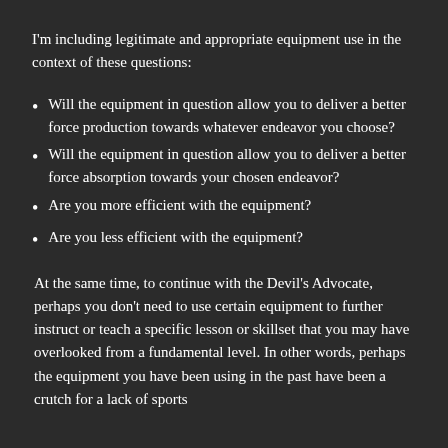I'm including legitimate and appropriate equipment use in the context of these questions:
Will the equipment in question allow you to deliver a better force production towards whatever endeavor you choose?
Will the equipment in question allow you to deliver a better force absorption towards your chosen endeavor?
Are you more efficient with the equipment?
Are you less efficient with the equipment?
At the same time, to continue with the Devil's Advocate, perhaps you don't need to use certain equipment to further instruct or teach a specific lesson or skillset that you may have overlooked from a fundamental level. In other words, perhaps the equipment you have been using in the past have been a crutch for a lack of sports